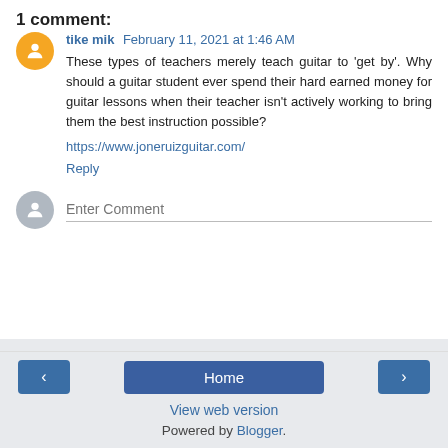1 comment:
tike mik February 11, 2021 at 1:46 AM
These types of teachers merely teach guitar to 'get by'. Why should a guitar student ever spend their hard earned money for guitar lessons when their teacher isn't actively working to bring them the best instruction possible?
https://www.joneruizguitar.com/
Reply
Enter Comment
Home
View web version
Powered by Blogger.